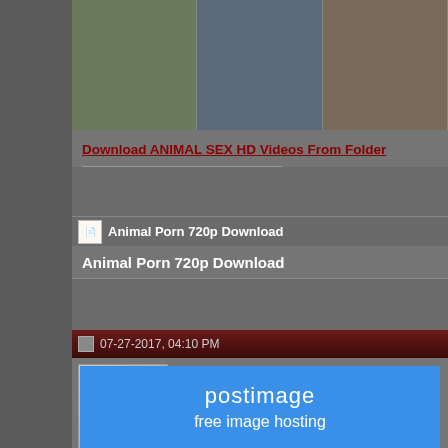[Figure (photo): Three thumbnail images in a horizontal strip showing outdoor scenes]
Download ANIMAL SEX HD Videos From Folder
07-27-2017, 04:10 PM
[Figure (photo): Avatar image of a husky dog cartoon/illustration]
ZooMan Administrator
Animal Porn 720p Download
Animal Porn 720p Download
[Figure (screenshot): Postimage free image hosting banner in blue]